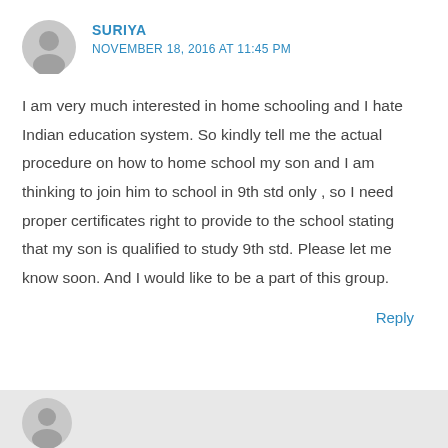SURIYA
NOVEMBER 18, 2016 AT 11:45 PM
I am very much interested in home schooling and I hate Indian education system. So kindly tell me the actual procedure on how to home school my son and I am thinking to join him to school in 9th std only , so I need proper certificates right to provide to the school stating that my son is qualified to study 9th std. Please let me know soon. And I would like to be a part of this group.
Reply